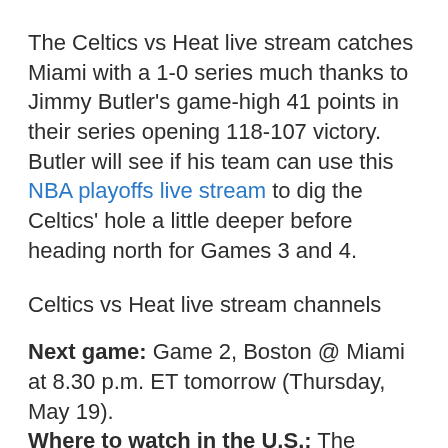The Celtics vs Heat live stream catches Miami with a 1-0 series much thanks to Jimmy Butler's game-high 41 points in their series opening 118-107 victory. Butler will see if his team can use this NBA playoffs live stream to dig the Celtics' hole a little deeper before heading north for Games 3 and 4.
Celtics vs Heat live stream channels
Next game: Game 2, Boston @ Miami at 8.30 p.m. ET tomorrow (Thursday, May 19). Where to watch in the U.S.: The Celtics vs Heat game is set to air on ESPN. ESPN is available on Sling TV